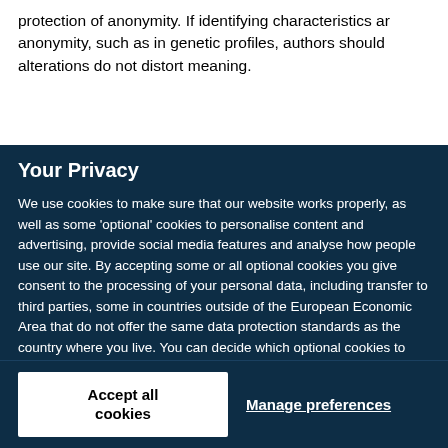protection of anonymity. If identifying characteristics are changed to protect anonymity, such as in genetic profiles, authors should ensure that alterations do not distort meaning.
Your Privacy
We use cookies to make sure that our website works properly, as well as some 'optional' cookies to personalise content and advertising, provide social media features and analyse how people use our site. By accepting some or all optional cookies you give consent to the processing of your personal data, including transfer to third parties, some in countries outside of the European Economic Area that do not offer the same data protection standards as the country where you live. You can decide which optional cookies to accept by clicking on 'Manage Settings', where you can also find more information about how your personal data is processed. Further information can be found in our privacy policy.
Accept all cookies
Manage preferences